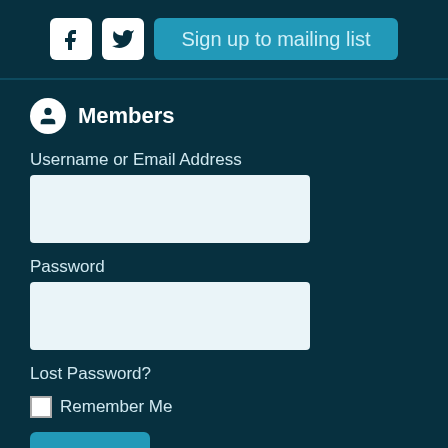[Figure (screenshot): Header bar with Facebook icon, Twitter icon, and 'Sign up to mailing list' teal button]
Members
Username or Email Address
[Figure (other): Empty text input field for username or email address]
Password
[Figure (other): Empty text input field for password]
Lost Password?
Remember Me
Log In